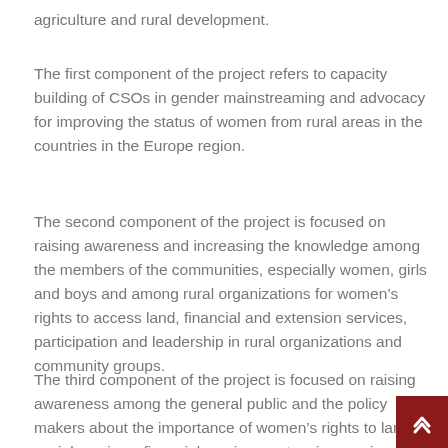agriculture and rural development.
The first component of the project refers to capacity building of CSOs in gender mainstreaming and advocacy for improving the status of women from rural areas in the countries in the Europe region.
The second component of the project is focused on raising awareness and increasing the knowledge among the members of the communities, especially women, girls and boys and among rural organizations for women’s rights to access land, financial and extension services, participation and leadership in rural organizations and community groups.
The third component of the project is focused on raising awareness among the general public and the policy makers about the importance of women’s rights to land, social services, financial services, extension services and women’s active participation in design of policy and strategy processes in rural development. Goal